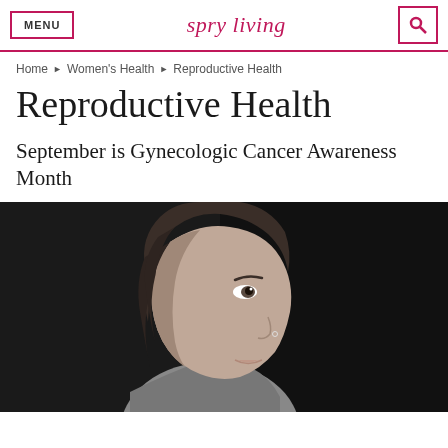MENU | spry living | [search]
Home ▶ Women's Health ▶ Reproductive Health
Reproductive Health
September is Gynecologic Cancer Awareness Month
[Figure (photo): Black and white side profile portrait of a young woman looking upward, against a dark background]